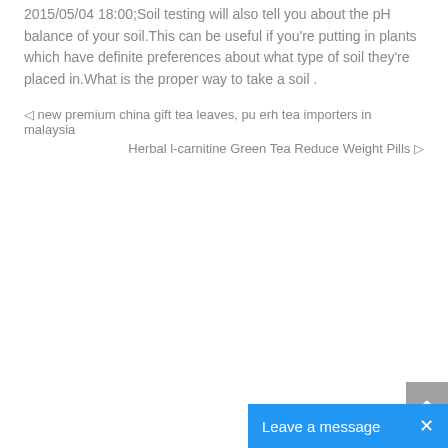2015/05/04 18:00;Soil testing will also tell you about the pH balance of your soil.This can be useful if you're putting in plants which have definite preferences about what type of soil they're placed in.What is the proper way to take a soil .
◁ new premium china gift tea leaves, pu erh tea importers in malaysia
Herbal l-carnitine Green Tea Reduce Weight Pills ▷